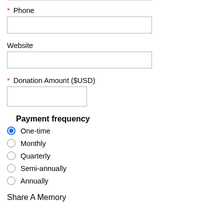* Phone
Website
* Donation Amount ($USD)
Payment frequency
One-time
Monthly
Quarterly
Semi-annually
Annually
Share A Memory